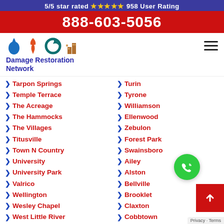5/5 star rated ⭐⭐⭐⭐⭐ 958 User Rating
888-603-5056
[Figure (logo): Damage Restoration Network logo with water, fire, hurricane, building icons]
Tarpon Springs
Turin
Temple Terrace
Tyrone
The Acreage
Williamson
The Hammocks
Ellenwood
The Villages
Zebulon
Titusville
Forest Park
Town N Country
Swainsboro
University
Ailey
University Park
Alston
Valrico
Bellville
Wellington
Brooklet
Wesley Chapel
Claxton
West Little River
Cobbtown
West Melbourne
Collins